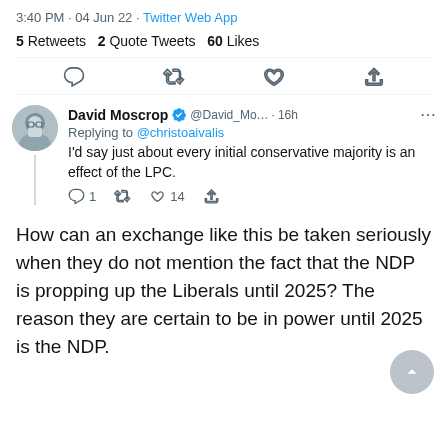3:40 PM · 04 Jun 22 · Twitter Web App
5 Retweets  2 Quote Tweets  60 Likes
[Figure (screenshot): Twitter action icons: reply, retweet, like, share]
[Figure (screenshot): Reply tweet from David Moscrop @David_Mo... · 16h replying to @christoaivalis: I'd say just about every initial conservative majority is an effect of the LPC. With mini action counts: 1 reply, retweet icon, 14 likes, share icon.]
How can an exchange like this be taken seriously when they do not mention the fact that the NDP is propping up the Liberals until 2025? The reason they are certain to be in power until 2025 is the NDP.